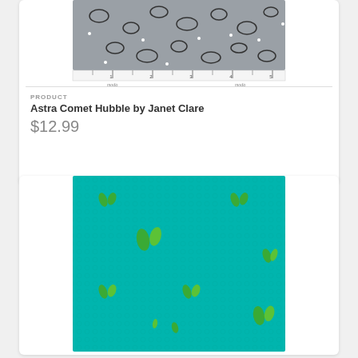[Figure (photo): Grey fabric with black oval/paisley shapes and white dot accents, shown with a ruler along the bottom edge with 'moda' branding]
PRODUCT
Astra Comet Hubble by Janet Clare
$12.99
[Figure (photo): Teal/turquoise fabric with scattered green plant/leaf motifs in a repeating pattern]